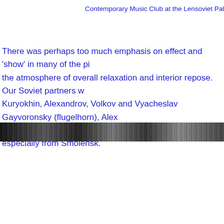Contemporary Music Club at the Lensoviet Palace of C
There was perhaps too much emphasis on effect and 'show' in many of the pi the atmosphere of overall relaxation and interior repose. Our Soviet partners w Kuryokhin, Alexandrov, Volkov and Vyacheslav Gayvoronsky (flugelhorn), Alex (drums) and Vladislav Makarov (cello), who came especially from Smolensk.
[Figure (photo): A horizontal strip of a black and white photograph, partially visible, showing indistinct figures or a scene in grayscale.]